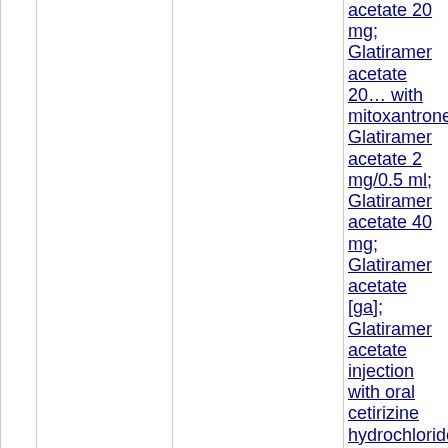acetate 20 mg; Glatiramer acetate 20 with mitoxantrone; Glatiramer acetate 2 mg/0.5 ml; Glatiramer acetate 40 mg; Glatiramer acetate [ga]; Glatiramer acetate injection with oral cetirizine hydrochloride; Glatiramer acetate with minocycline; Glatiramer acetate, (copaxone®); Glatiramer acetate, ifn-b 1a (im), ifn-beta 1a (subcutaneous), an ifn-beta 1b; Glatiramer acetate, n-acetylcysteine; Gonadorelin acetate an triptorelin acetate; Human interferon be 1a and glatiramer acetate; Hydrocortise acetate; Hydrocortisone sodium acetat L-lysyl-d-prolyl-l-threonine acetate; L-lysyl-d-prolyl-lthreonine acetate, lyophilisate; Lanreotide acetate; Lapaquistat acetate and current lipid-lowering treatment; Leuprolide acetate (la); Leuprolide acetate 11.25 mg; Leuprolide acetate 3 month depot; Leuprolide acetate 30 mg; Leuprolide acetate 45 mg; Leuprolide acetate dep Leuprorelin acetate; Leuprorelin acetat 3.75mg injection; Loestrin (norethindro acetate and ethinyl estradiol); Loestrin 1.5/30 (1.5 mg norethindrone acetate/3 μg ethinyl estradiol); Luphere depot 3.75mg(leuprolide acetate 3.75mg); Lupron (leuprolide acetate); Macimorel